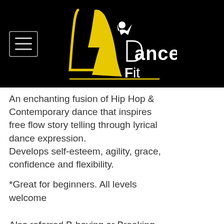[Figure (logo): LA DanceFit logo — stylized yellow 'LA' letters with a figure and white 'DanceFit' text on black background, with hamburger menu icon on left]
An enchanting fusion of Hip Hop & Contemporary dance that inspires free flow story telling through lyrical dance expression.
Develops self-esteem, agility, grace, confidence and flexibility.
*Great for beginners. All levels welcome
Also referred B-boying or Breaking, this style of street dancing is the most